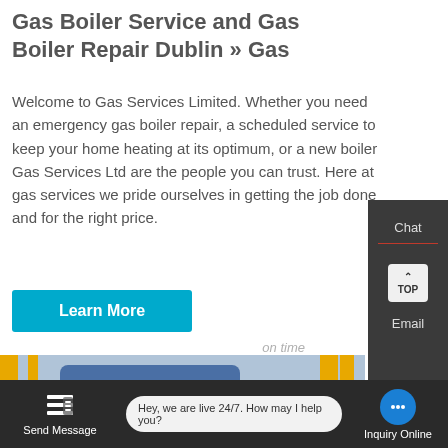Gas Boiler Service and Gas Boiler Repair Dublin » Gas
Welcome to Gas Services Limited. Whether you need an emergency gas boiler repair, a scheduled service to keep your home heating at its optimum, or a new boiler Gas Services Ltd are the people you can trust. Here at gas services we pride ourselves in getting the job done on time and for the right price.
Learn More
[Figure (photo): Industrial gas boiler equipment with yellow pipes and Chinese text markings, WhatsApp icon and 'Contact us now!' bubble overlay]
Chat
TOP
Email
Send Message
Hey, we are live 24/7. How may I help you?
Inquiry Online